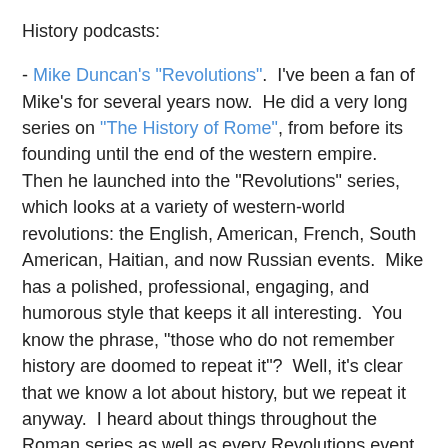History podcasts:
- Mike Duncan's "Revolutions".  I've been a fan of Mike's for several years now.  He did a very long series on "The History of Rome", from before its founding until the end of the western empire.  Then he launched into the "Revolutions" series, which looks at a variety of western-world revolutions: the English, American, French, South American, Haitian, and now Russian events.  Mike has a polished, professional, engaging, and humorous style that keeps it all interesting.  You know the phrase, "those who do not remember history are doomed to repeat it"?  Well, it's clear that we know a lot about history, but we repeat it anyway.  I heard about things throughout the Roman series as well as every Revolutions event that are being repeated, in slightly different ways, today.  That's not always a good feeling.  Highly recommend Mike's podcasts.
- The Leakey Foundation's "Origin Stories".  This series explores the foundations of humanity, what it means to be "human", where we came from, and how millions of years of development are still evident today.  There are interviews,